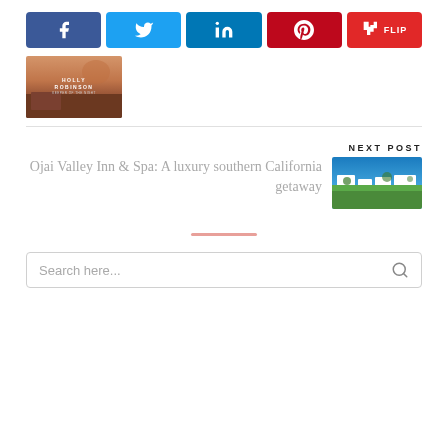[Figure (other): Social share buttons: Facebook, Twitter, LinkedIn, Pinterest, Flipboard]
[Figure (photo): Book cover image by Holly Robinson with beach/coastal scene]
NEXT POST
Ojai Valley Inn & Spa: A luxury southern California getaway
[Figure (photo): Photo of Ojai Valley Inn & Spa showing buildings with greenery under blue sky]
Search here...